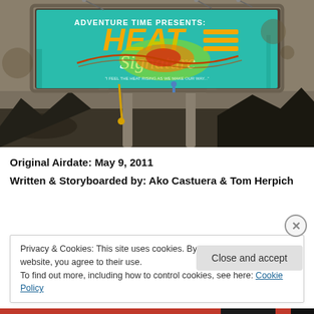[Figure (illustration): Adventure Time presents Heat Signature billboard in a post-apocalyptic landscape with sepia toned background. The billboard shows colorful teal artwork with orange HEAT text and Signature cursive below, featuring a heat signature blob graphic.]
Original Airdate: May 9, 2011
Written & Storyboarded by: Ako Castuera & Tom Herpich
Privacy & Cookies: This site uses cookies. By continuing to use this website, you agree to their use.
To find out more, including how to control cookies, see here: Cookie Policy